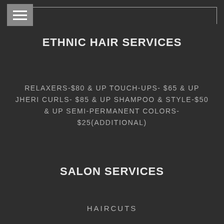ETHNIC HAIR SERVICES
RELAXERS-$80 & UP TOUCH-UPS- $65 & UP JHERI CURLS- $85 & UP SHAMPOO & STYLE-$50 & UP SEMI-PERMANENT COLORS-$25(ADDITIONAL)
SALON SERVICES
HAIRCUTS